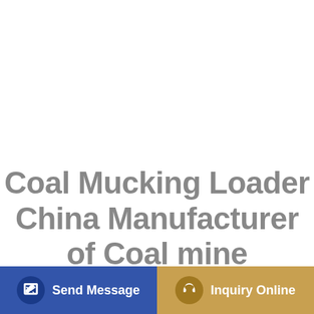Coal Mucking Loader China Manufacturer of Coal mine
[Figure (infographic): Two call-to-action buttons at the bottom: 'Send Message' on the left with a blue background and a pencil/document icon, and 'Inquiry Online' on the right with a gold/tan background and a headset icon.]